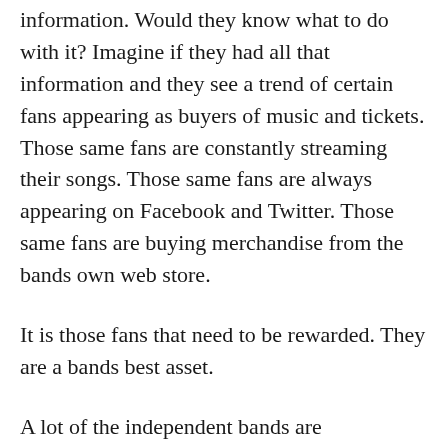information. Would they know what to do with it? Imagine if they had all that information and they see a trend of certain fans appearing as buyers of music and tickets. Those same fans are constantly streaming their songs. Those same fans are always appearing on Facebook and Twitter. Those same fans are buying merchandise from the bands own web store.
It is those fans that need to be rewarded. They are a bands best asset.
A lot of the independent bands are